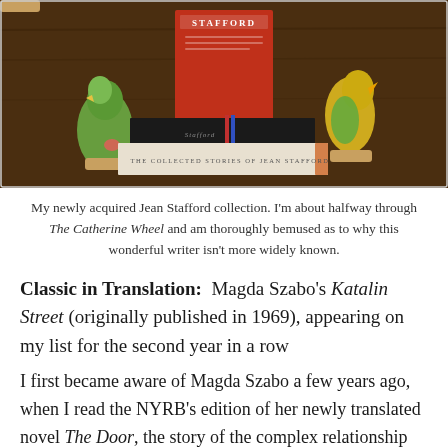[Figure (photo): Photograph of Jean Stafford books stacked on a wooden surface, with two colorful ceramic bird figurines on either side. The books visible include 'The Collected Stories of Jean Stafford' and another dark-spined volume. A red book with 'Stafford' on the cover is propped behind them.]
My newly acquired Jean Stafford collection. I'm about halfway through The Catherine Wheel and am thoroughly bemused as to why this wonderful writer isn't more widely known.
Classic in Translation:  Magda Szabo's Katalin Street (originally published in 1969), appearing on my list for the second year in a row
I first became aware of Magda Szabo a few years ago, when I read the NYRB's edition of her newly translated novel The Door, the story of the complex relationship